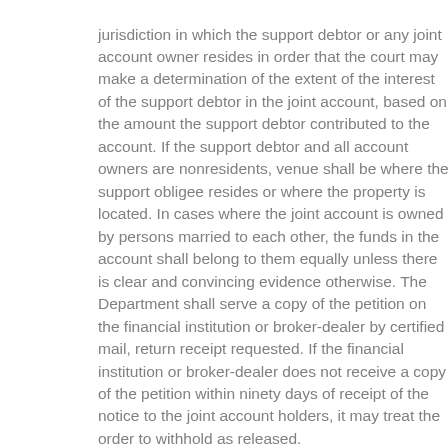jurisdiction in which the support debtor or any joint account owner resides in order that the court may make a determination of the extent of the interest of the support debtor in the joint account, based on the amount the support debtor contributed to the account. If the support debtor and all account owners are nonresidents, venue shall be where the support obligee resides or where the property is located. In cases where the joint account is owned by persons married to each other, the funds in the account shall belong to them equally unless there is clear and convincing evidence otherwise. The Department shall serve a copy of the petition on the financial institution or broker-dealer by certified mail, return receipt requested. If the financial institution or broker-dealer does not receive a copy of the petition within ninety days of receipt of the notice to the joint account holders, it may treat the order to withhold as released.
Notwithstanding service or receipt of such order of